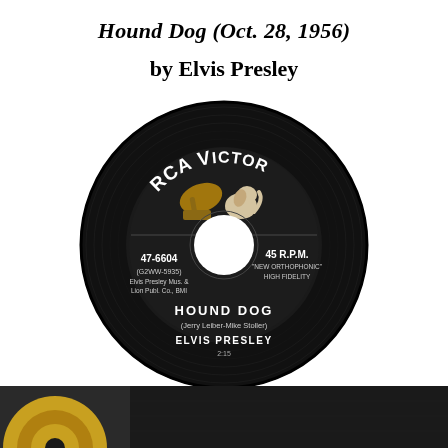Hound Dog (Oct. 28, 1956)
by Elvis Presley
[Figure (photo): RCA Victor 45 RPM vinyl record label for 'Hound Dog' by Elvis Presley, catalog number 47-6604, black label with white and gold text, featuring the RCA Victor dog-and-gramophone logo. Shows '45 R.P.M. NEW ORTHOPHONIC HIGH FIDELITY', songwriters Jerry Leiber-Mike Stoller, and duration 2:15.]
[Figure (photo): Partial view of another record at the bottom of the page, cropped.]